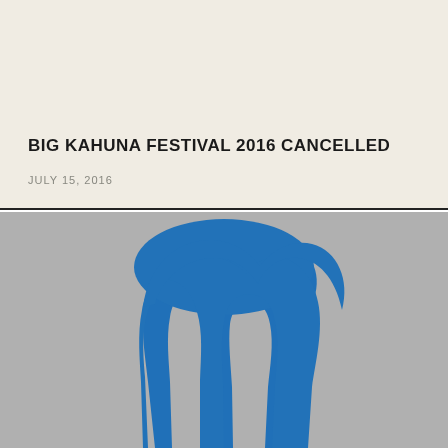BIG KAHUNA FESTIVAL 2016 CANCELLED
JULY 15, 2016
[Figure (illustration): Blue abstract fist or wave shape against a gray background, resembling a stylized logo or festival artwork for Big Kahuna Festival 2016]